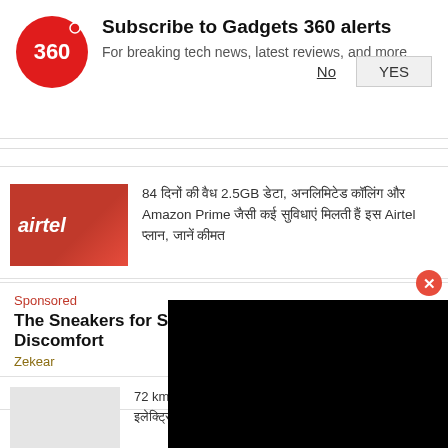[Figure (screenshot): Gadgets 360 notification subscription banner with red circular logo showing '360', bold title 'Subscribe to Gadgets 360 alerts', subtitle 'For breaking tech news, latest reviews, and more', and No/YES buttons]
[Figure (photo): Airtel red branded image with airtel logo text]
84 दिनों की वैध 2.5GB डेटा, अनलिमिटेड कॉलिंग और Amazon Prime जैसी कई सुविधाएं मिलती हैं इस Airtel प्लान, जानें कीमत
Sponsored
The Sneakers for Standing All Day Without Discomfort
Zekear
72 km की रेंज वाला RadEx
इलेक्ट्रिक साइकल भारत, जानें क
More Technology News in Hindi »